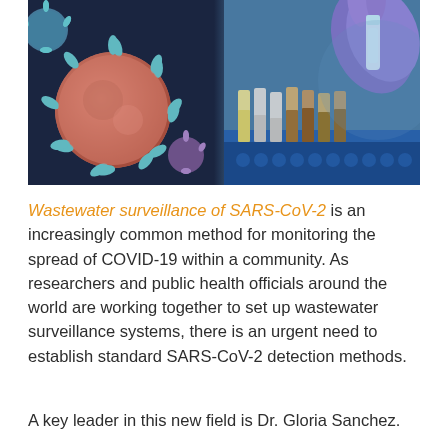[Figure (photo): Split composite image: left side shows a colorized microscopy image of SARS-CoV-2 coronavirus particles (spherical, spiky, in pink/teal/blue colors); right side shows a gloved hand in purple latex holding a small vial near a row of sample tubes in a blue laboratory tray.]
Wastewater surveillance of SARS-CoV-2 is an increasingly common method for monitoring the spread of COVID-19 within a community. As researchers and public health officials around the world are working together to set up wastewater surveillance systems, there is an urgent need to establish standard SARS-CoV-2 detection methods.
A key leader in this new field is Dr. Gloria Sanchez.